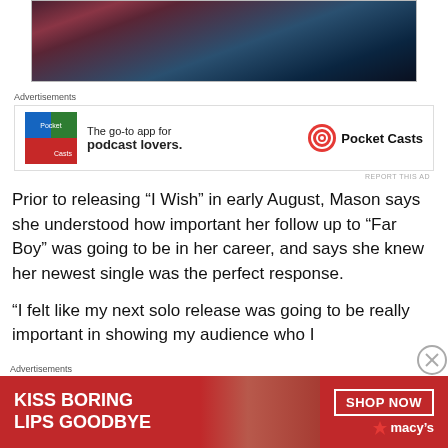[Figure (photo): Partial photo showing person from waist down in jeans, holding something, with dark blue/night background. Only bottom portion visible.]
Advertisements
[Figure (infographic): Pocket Casts advertisement: 'The go-to app for podcast lovers.' with colorful app icon on left and Pocket Casts logo on right.]
REPORT THIS AD
Prior to releasing “I Wish” in early August, Mason says she understood how important her follow up to “Far Boy” was going to be in her career, and says she knew her newest single was the perfect response.
“I felt like my next solo release was going to be really important in showing my audience who I
Advertisements
[Figure (infographic): Macy's advertisement banner: 'KISS BORING LIPS GOODBYE' with SHOP NOW button and Macy's logo, red background, model's face visible.]